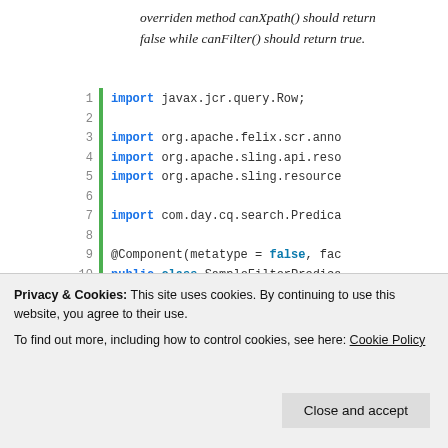overriden method canXpath() should return false while canFilter() should return true.
[Figure (screenshot): Java code snippet showing a SampleFilterPredicate class with imports for javax.jcr.query.Row, org.apache.felix.scr.anno, org.apache.sling.api.reso, org.apache.sling.resource, com.day.cq.search.Predica, with class definition including @Component, public class, public static final String SAMPL, @Override, public boolean includes(Predicat, if (!p.hasNonEmptyValue(SAMPLE)), return true;, }, /* Write some code logic here as, Return true for a favourable Con]
Privacy & Cookies: This site uses cookies. By continuing to use this website, you agree to their use.
To find out more, including how to control cookies, see here: Cookie Policy